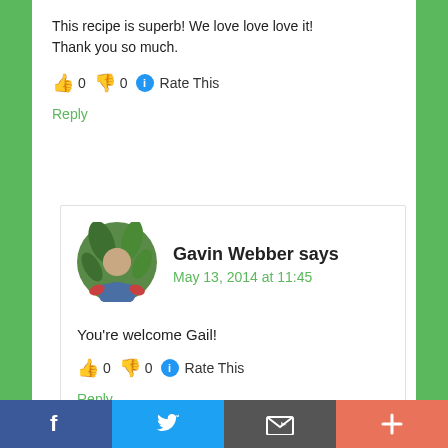This recipe is superb! We love love love it! Thank you so much.
👍 0 👎 0 ℹ Rate This
Reply
Gavin Webber says
May 13, 2014 at 11:45
You're welcome Gail!
👍 0 👎 0 ℹ Rate This
Reply